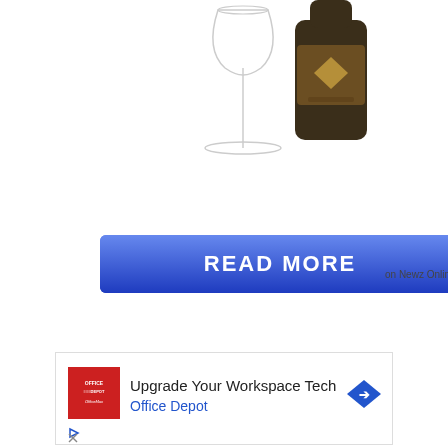[Figure (photo): Wine glass (empty, stemmed) next to a dark amber bottle of wine/spirits, on a white background. Top portion of product image.]
[Figure (infographic): Blue gradient 'READ MORE' button with text 'on Newz Online' to the right.]
[Figure (infographic): Advertisement banner with Office Depot branding. Red square logo on left, text 'Upgrade Your Workspace Tech / Office Depot', blue diamond arrow icon on right, with play and close icon controls at bottom left.]